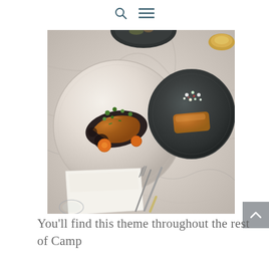🔍 ☰
[Figure (photo): Overhead view of two plated dishes on a marble table — a light ceramic plate with a seared fish fillet topped with green herbs and sliced kumquats, and a dark slate plate with a piece of roasted squash topped with chopped salsa. A folded white napkin and silverware (fork and knife) rest on the marble surface. A partial dark bowl with nuts/grains is visible at the top, and a gold candle holder at top right.]
You'll find this theme throughout the rest of Camp